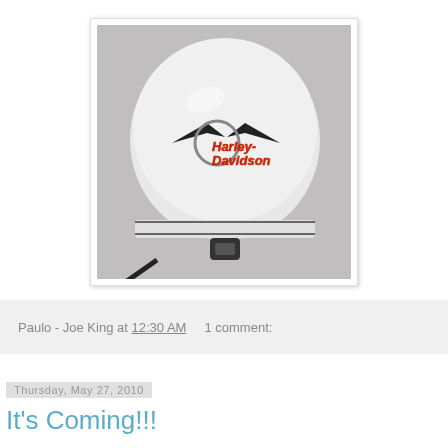[Figure (photo): A white Harley-Davidson branded motorcycle helmet viewed from the back, with a Harley-Davidson logo decal, sitting on a surface. The helmet has a chin strap buckle visible at the bottom and thin black pinstripe lines around the base.]
Paulo - Joe King at 12:30 AM    1 comment:
Thursday, May 27, 2010
It's Coming!!!